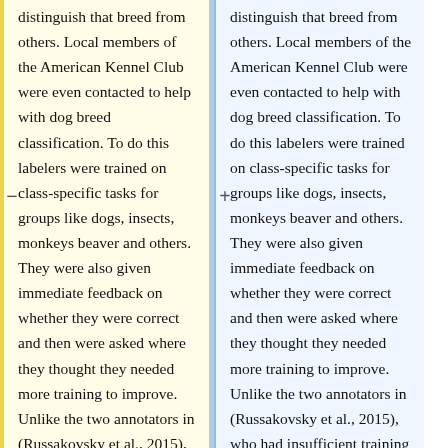distinguish that breed from others. Local members of the American Kennel Club were even contacted to help with dog breed classification. To do this labelers were trained on class-specific tasks for groups like dogs, insects, monkeys beaver and others. They were also given immediate feedback on whether they were correct and then were asked where they thought they needed more training to improve.  Unlike the two annotators in (Russakovsky et al., 2015), who had insufficient training data, the labelers in this experiment had to 100 training images per class while labeling. This allowed the labelers to
distinguish that breed from others. Local members of the American Kennel Club were even contacted to help with dog breed classification. To do this labelers were trained on class-specific tasks for groups like dogs, insects, monkeys beaver and others. They were also given immediate feedback on whether they were correct and then were asked where they thought they needed more training to improve.  Unlike the two annotators in (Russakovsky et al., 2015), who had insufficient training data, the labelers in this experiment had up to 100 training images per class while labeling. This allowed the